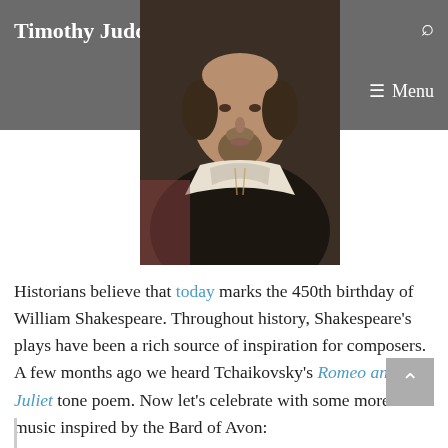Timothy Judd  VIOLINIST  Menu
[Figure (photo): Portrait painting of William Shakespeare, showing a man with a beard and white collar against a dark background]
Historians believe that today marks the 450th birthday of William Shakespeare. Throughout history, Shakespeare’s plays have been a rich source of inspiration for composers. A few months ago we heard Tchaikovsky’s Romeo and Juliet tone poem. Now let’s celebrate with some more music inspired by the Bard of Avon: